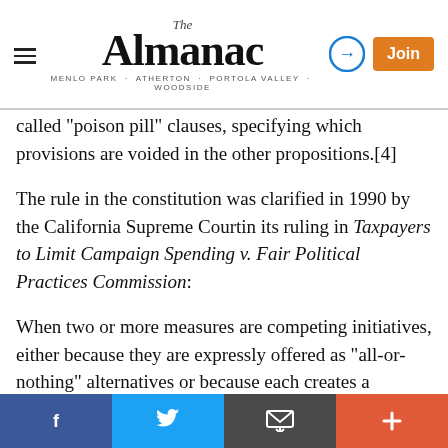The Almanac — Menlo Park · Atherton · Portola Valley · Woodside
called "poison pill" clauses, specifying which provisions are voided in the other propositions.[4]
The rule in the constitution was clarified in 1990 by the California Supreme Court in its ruling in Taxpayers to Limit Campaign Spending v. Fair Political Practices Commission:
When two or more measures are competing initiatives, either because they are expressly offered as "all-or-nothing" alternatives or because each creates a comprehensive regulatory scheme related to the same subject, section 10(b) mandates that only the provisions of the measure receiving the highest number of
Facebook  Twitter  Email  +